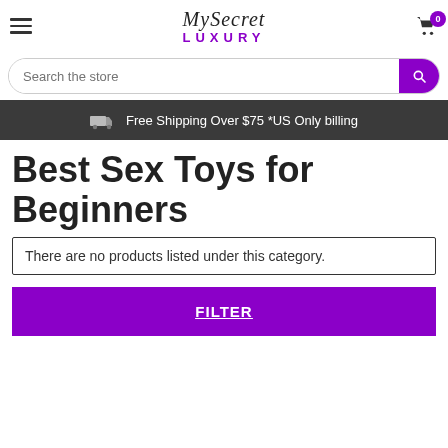MySecret LUXURY — hamburger menu, logo, cart (0)
Search the store
Free Shipping Over $75 *US Only billing
Best Sex Toys for Beginners
There are no products listed under this category.
FILTER